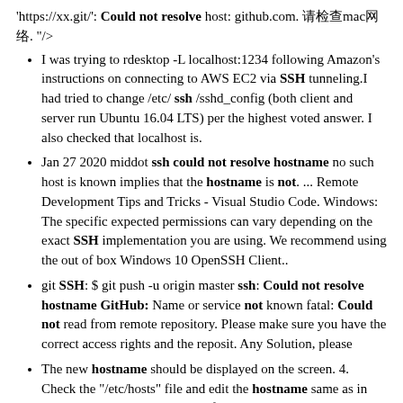'https://xx.git/': Could not resolve host: github.com. 请检查mac网络. "/>
I was trying to rdesktop -L localhost:1234 following Amazon's instructions on connecting to AWS EC2 via SSH tunneling.I had tried to change /etc/ ssh /sshd_config (both client and server run Ubuntu 16.04 LTS) per the highest voted answer. I also checked that localhost is.
Jan 27 2020 middot ssh could not resolve hostname no such host is known implies that the hostname is not. ... Remote Development Tips and Tricks - Visual Studio Code. Windows: The specific expected permissions can vary depending on the exact SSH implementation you are using. We recommend using the out of box Windows 10 OpenSSH Client..
git SSH: $ git push -u origin master ssh: Could not resolve hostname GitHub: Name or service not known fatal: Could not read from remote repository. Please make sure you have the correct access rights and the reposit. Any Solution, please
The new hostname should be displayed on the screen. 4. Check the "/etc/hosts" file and edit the hostname same as in "/etc/ hostname ". The "hosts" file maps the hostname to IP addresses. Hence, it is very important that you edit the hostname in the file. Warning.